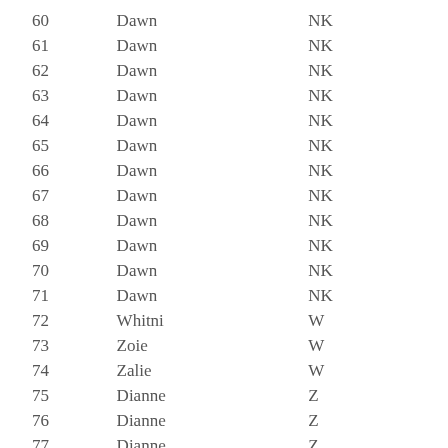| # | Name | Code |
| --- | --- | --- |
| 60 | Dawn | NK |
| 61 | Dawn | NK |
| 62 | Dawn | NK |
| 63 | Dawn | NK |
| 64 | Dawn | NK |
| 65 | Dawn | NK |
| 66 | Dawn | NK |
| 67 | Dawn | NK |
| 68 | Dawn | NK |
| 69 | Dawn | NK |
| 70 | Dawn | NK |
| 71 | Dawn | NK |
| 72 | Whitni | W |
| 73 | Zoie | W |
| 74 | Zalie | W |
| 75 | Dianne | Z |
| 76 | Dianne | Z |
| 77 | Dianne | Z |
| 78 | Dianne | Z |
| 79 | Dianne | Z |
| 80 | Sterling | C |
| 81 | Sterling | C |
| 82 | Sterling | C |
| 83 | Sterling | C |